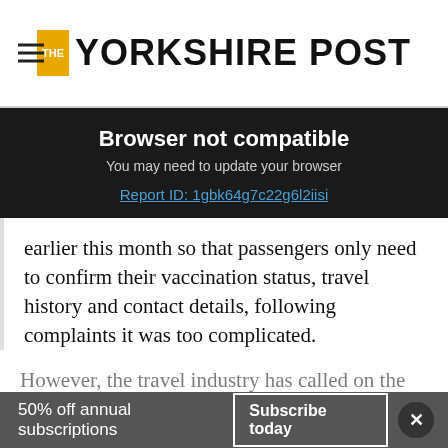THE YORKSHIRE POST
Browser not compatible
You may need to update your browser
Report ID: 1gbk64g7c22g6l2iisi
earlier this month so that passengers only need to confirm their vaccination status, travel history and contact details, following complaints it was too complicated.
However, the travel industry has called on the UK government to scrap the form completely, although the Ministry of Health is understood
50% off annual subscriptions   Subscribe today   ×